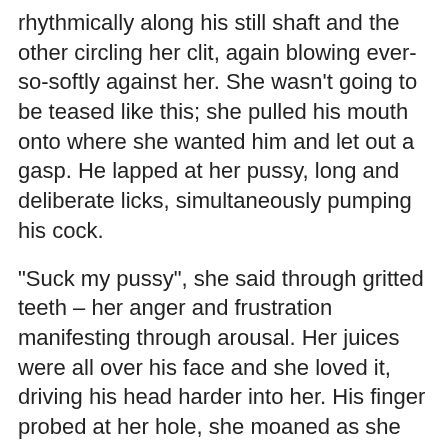rhythmically along his still shaft and the other circling her clit, again blowing ever-so-softly against her. She wasn't going to be teased like this; she pulled his mouth onto where she wanted him and let out a gasp. He lapped at her pussy, long and deliberate licks, simultaneously pumping his cock.
“Suck my pussy”, she said through gritted teeth – her anger and frustration manifesting through arousal. Her juices were all over his face and she loved it, driving his head harder into her. His finger probed at her hole, she moaned as she looked down and saw Declan’s pre-cum glistening on the head of his dick. He smoothed it around his head and it fuelled her fire even more.
He inserted a finger inside her,